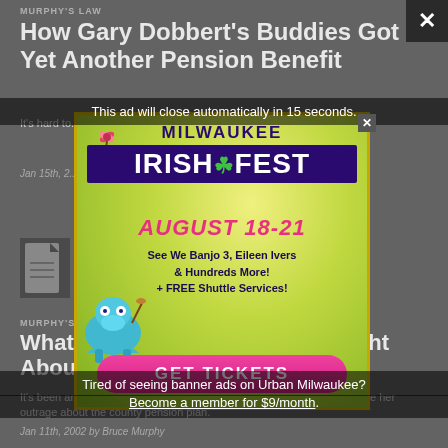MURPHY'S LAW
How Gary Dobbert's Buddies Got Yet Another Pension Benefit
It's hard to... associated with the... another group of... administered...
Jan 15th, 2...
[Figure (other): Document icon placeholder for second article]
MURPHY'S LAW
What did Stephanie Really Thought About America's Pension?
It's been amusing to hear County Board Member Karen Ordinans declare her outrage about the county pension plan.
Jan 11th, 2002 by Bruce Murphy
[Figure (infographic): Milwaukee Irish Fest advertisement banner. August 18-21. See We Banjo 3, Eileen Ivers & Hundreds More! + FREE Shuttle Services! GET TICKETS. This ad will close automatically in 15 seconds. Tired of seeing banner ads on Urban Milwaukee? Become a member for $9/month.]